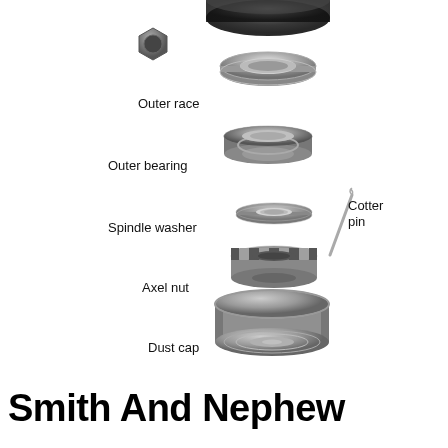[Figure (engineering-diagram): Exploded view diagram of wheel hub components including: outer race (ring), outer bearing (tapered roller bearing), spindle washer (flat washer), axel nut (castle/slotted nut), dust cap (grease cap), and cotter pin. Parts are stacked vertically in exploded assembly order with a wheel hub visible at the top. Labels identify each part with leader text.]
Smith And Nephew